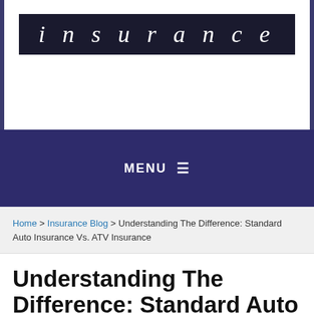[Figure (logo): Insurance website logo with italic white text 'insurance' on dark background]
MENU ☰
Home > Insurance Blog > Understanding The Difference: Standard Auto Insurance Vs. ATV Insurance
Understanding The Difference: Standard Auto